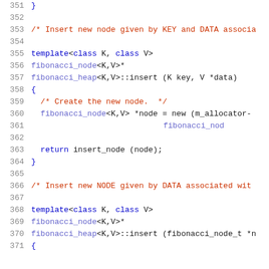Source code listing lines 351-371, showing C++ fibonacci heap insert methods